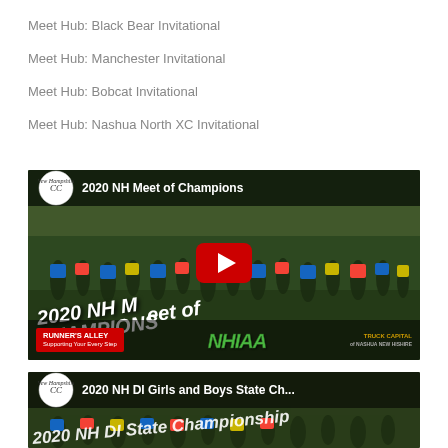Meet Hub: Black Bear Invitational
Meet Hub: Manchester Invitational
Meet Hub: Bobcat Invitational
Meet Hub: Nashua North XC Invitational
[Figure (screenshot): YouTube video thumbnail for '2020 NH Meet of Champions' showing a large group of cross country runners on a grass course. Overlaid diagonal text reads '2020 NH Meet of Champions'. Bottom bar shows sponsor logos: Runner's Alley, NHIAA, and Truck Capital. A red YouTube play button is centered on the image.]
[Figure (screenshot): YouTube video thumbnail for '2020 NH DI Girls and Boys State Championship' partially visible at the bottom of the page, showing runners with diagonal overlay text.]